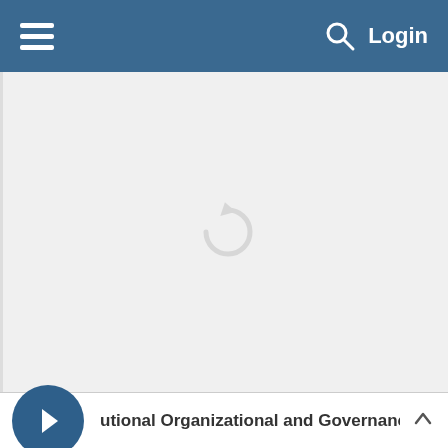≡  🔍  Login
[Figure (screenshot): Loading spinner icon centered in a light grey content area]
utional Organizational and Governance